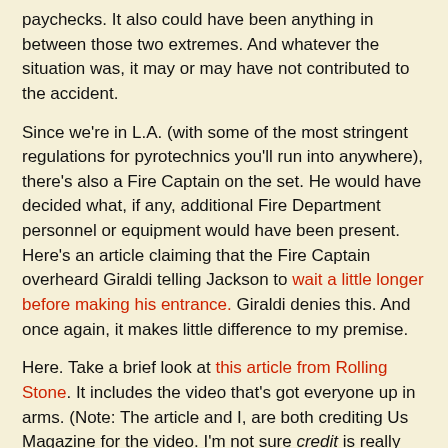paychecks. It also could have been anything in between those two extremes. And whatever the situation was, it may or may have not contributed to the accident.
Since we're in L.A. (with some of the most stringent regulations for pyrotechnics you'll run into anywhere), there's also a Fire Captain on the set. He would have decided what, if any, additional Fire Department personnel or equipment would have been present. Here's an article claiming that the Fire Captain overheard Giraldi telling Jackson to wait a little longer before making his entrance. Giraldi denies this. And once again, it makes little difference to my premise.
Here. Take a brief look at this article from Rolling Stone. It includes the video that's got everyone up in arms. (Note: The article and I, are both crediting Us Magazine for the video. I'm not sure credit is really the appropriate word since it's about as exploitative as you can get, but...) In the second paragraph of the story, there's this:
"Jackson, unaware that he's on fire, continues to